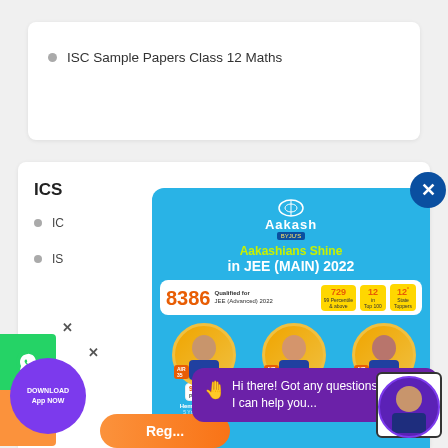ISC Sample Papers Class 12 Maths
ICS
IC
IS
[Figure (screenshot): Aakash BYJU'S advertisement popup showing 'Aakashians Shine in JEE (MAIN) 2022' with statistics: 8386 qualified for JEE Advanced 2022, 729 at 99 Percentile and above, 12 in Top 100, 12 State Toppers. Shows three student photos: Hemansh Garg AIR 35 (99.99 Percentile), Jaladhi Joshi AIR 61 (99.99 Percentile), Apoorv Tandon AIR 71 (99.99 Percentile).]
Hi there! Got any questions? I can help you...
DOWNLOAD App NOW